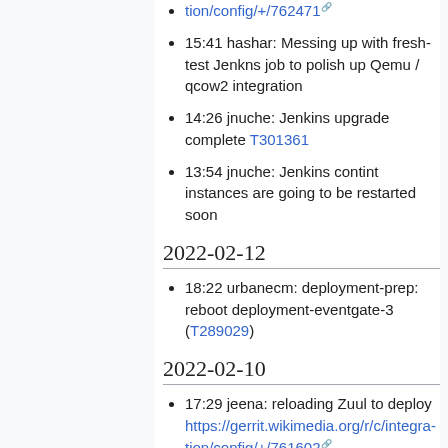tion/config/+/762471 [link]
15:41 hashar: Messing up with fresh-test Jenkns job to polish up Qemu / qcow2 integration
14:26 jnuche: Jenkins upgrade complete T301361
13:54 jnuche: Jenkins contint instances are going to be restarted soon
2022-02-12
18:22 urbanecm: deployment-prep: reboot deployment-eventgate-3 (T289029)
2022-02-10
17:29 jeena: reloading Zuul to deploy https://gerrit.wikimedia.org/r/c/integration/config/+/761602 [link]